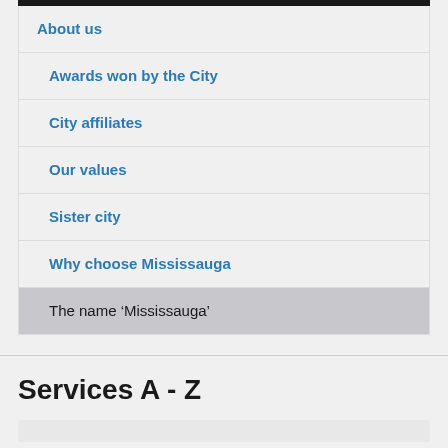About us
Awards won by the City
City affiliates
Our values
Sister city
Why choose Mississauga
The name ‘Mississauga’
Services A - Z